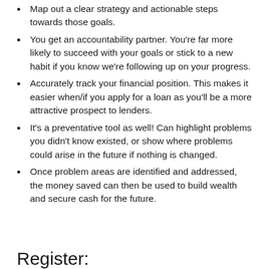Map out a clear strategy and actionable steps towards those goals.
You get an accountability partner. You're far more likely to succeed with your goals or stick to a new habit if you know we're following up on your progress.
Accurately track your financial position. This makes it easier when/if you apply for a loan as you'll be a more attractive prospect to lenders.
It's a preventative tool as well! Can highlight problems you didn't know existed, or show where problems could arise in the future if nothing is changed.
Once problem areas are identified and addressed, the money saved can then be used to build wealth and secure cash for the future.
Register: